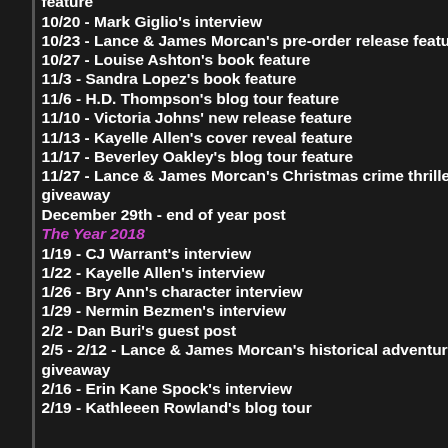feature
10/20 - Mark Giglio's interview
10/23 - Lance & James Morcan's pre-order release feature
10/27 - Louise Ashton's book feature
11/3 - Sandra Lopez's book feature
11/6 - H.D. Thompson's blog tour feature
11/10 - Victoria Johns' new release feature
11/13 - Kayelle Allen's cover reveal feature
11/17 - Beverley Oakley's blog tour feature
11/27 - Lance & James Morcan's Christmas crime thriller giveaway
December 29th - end of year post
The Year 2018
1/19 - CJ Warrant's interview
1/22 - Kayelle Allen's interview
1/26 - Bry Ann's character interview
1/29 - Nermin Bezmen's interview
2/2 - Dan Buri's guest post
2/5 - 2/12 - Lance & James Morcan's historical adventure giveaway
2/16 - Erin Kane Spock's interview
2/19 - Kathleeen Rowland's blog tour